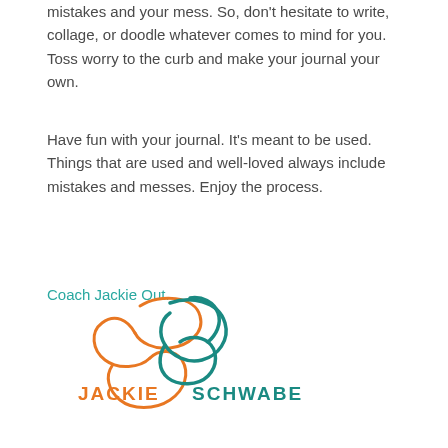mistakes and your mess. So, don't hesitate to write, collage, or doodle whatever comes to mind for you. Toss worry to the curb and make your journal your own.
Have fun with your journal. It's meant to be used. Things that are used and well-loved always include mistakes and messes. Enjoy the process.
Coach Jackie Out.
[Figure (logo): Jackie Schwabe logo with an ornate cursive J in orange and teal forming a figure-eight shape, with 'JACKIE' in orange and 'SCHWABE' in teal uppercase letters]